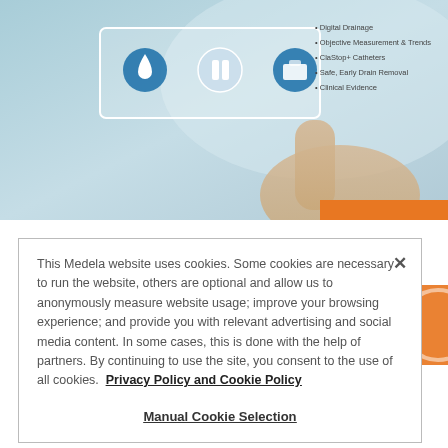[Figure (photo): Hero image showing a person's hand touching a digital interface with icons (droplet, pause button, briefcase/bag icon) and text listing: Digital Drainage, Objective Measurement & Trends, ClaStop+ Catheters, Safe, Early Drain Removal, Clinical Evidence. Blue-toned medical technology visual.]
ERACS 2021 - Managing Postoperative Risks
This Medela website uses cookies. Some cookies are necessary to run the website, others are optional and allow us to anonymously measure website usage; improve your browsing experience; and provide you with relevant advertising and social media content. In some cases, this is done with the help of partners. By continuing to use the site, you consent to the use of all cookies.  Privacy Policy and Cookie Policy
Manual Cookie Selection